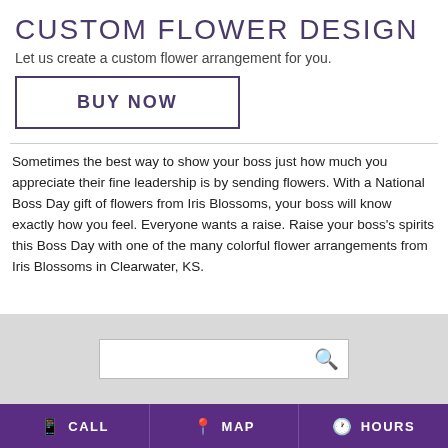CUSTOM FLOWER DESIGN
Let us create a custom flower arrangement for you.
BUY NOW
Sometimes the best way to show your boss just how much you appreciate their fine leadership is by sending flowers. With a National Boss Day gift of flowers from Iris Blossoms, your boss will know exactly how you feel. Everyone wants a raise. Raise your boss's spirits this Boss Day with one of the many colorful flower arrangements from Iris Blossoms in Clearwater, KS.
CALL  MAP  HOURS